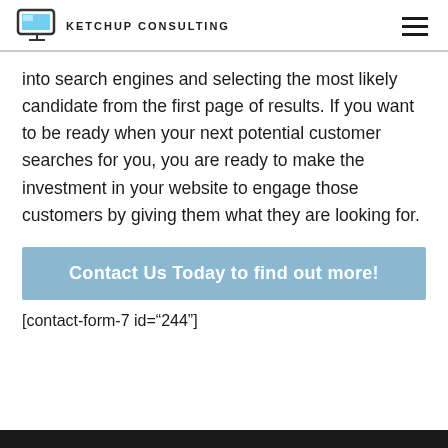KETCHUP CONSULTING
into search engines and selecting the most likely candidate from the first page of results. If you want to be ready when your next potential customer searches for you, you are ready to make the investment in your website to engage those customers by giving them what they are looking for.
Contact Us Today to find out more!
[contact-form-7 id="244"]